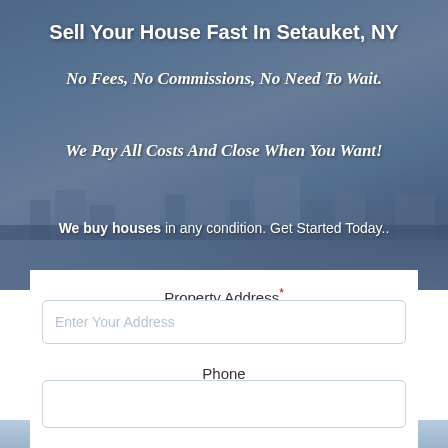[Figure (photo): Aerial/cityscape background photo of Setauket, NY area with trees and buildings, overlaid with a blue-grey semi-transparent tint]
Sell Your House Fast In Setauket, NY
No Fees, No Commissions, No Need To Wait.
We Pay All Costs And Close When You Want!
We buy houses in any condition. Get Started Today..
Property Address *
Enter Your Address
Phone